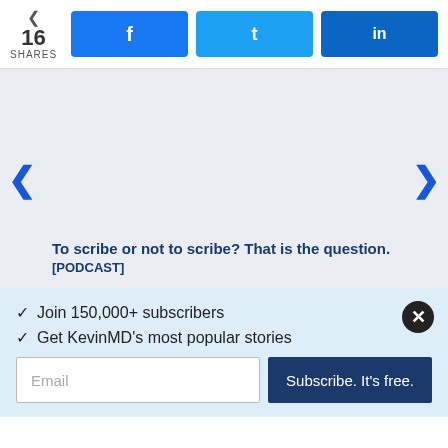16 SHARES | Facebook | Twitter | LinkedIn
[Figure (screenshot): Light gray content/image area with left and right navigation arrows]
To scribe or not to scribe? That is the question.
[PODCAST]
✓  Join 150,000+ subscribers
✓  Get KevinMD's most popular stories
Email | Subscribe. It's free.